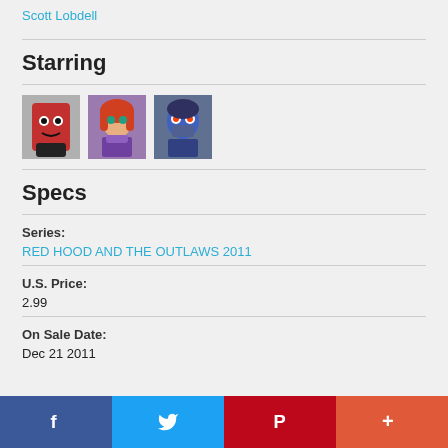Scott Lobdell
Starring
[Figure (illustration): Three comic character thumbnail images side by side: Red Hood (red masked character), a red-haired female character, and a blue-masked character]
Specs
Series:
RED HOOD AND THE OUTLAWS 2011
U.S. Price:
2.99
On Sale Date:
Dec 21 2011
Facebook  Twitter  Pinterest  More